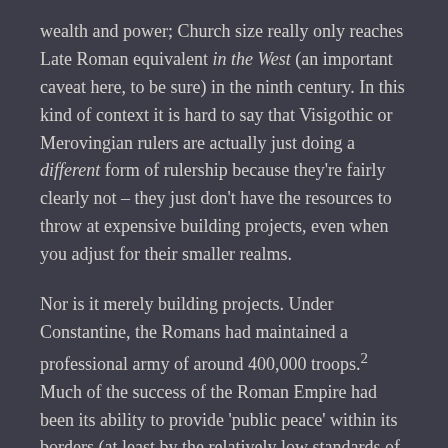wealth and power; Church size really only reaches Late Roman equivalent in the West (an important caveat here, to be sure) in the ninth century. In this kind of context it is hard to say that Visigothic or Merovingian rulers are actually just doing a different form of rulership because they're fairly clearly not – they just don't have the resources to throw at expensive building projects, even when you adjust for their smaller realms.
Nor is it merely building projects. Under Constantine, the Romans had maintained a professional army of around 400,000 troops.² Much of the success of the Roman Empire had been its ability to provide 'public peace' within its borders (at least by the relatively low standards of the ancient world). While the third century